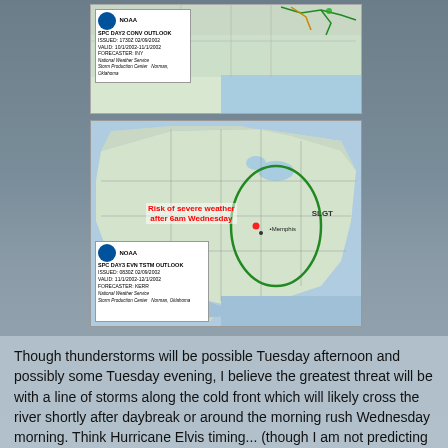[Figure (map): SPC Day 2 convective outlook map showing the southeastern United States with storm prediction center forecast. NOAA badge top-left with text: SPC DAY2 CONV OUTLOOK, ISSUED: 1730Z 02/09/2002, VALID: 10/1/2002-11/1/2002, FORECASTER: INY, National Weather Service, Storm Production Center, Norman, Oklahoma.]
[Figure (map): SPC Day 3 evening/storm outlook map of USA showing risk of severe weather after 6am Wednesday with a green outlined SLGT risk area centered around Memphis/Mid-South region. Red annotation reads 'Risk of severe weather after 6am Wednesday'. NOAA badge bottom-left: SPC DAY3 EVN TSTM OUTLOOK, ISSUED: 0830Z 02/09/2002, VALID: 11/1/2002-12/1/2002, FORECASTER: KERR, National Weather Service, Storm Production Center, Norman, Oklahoma.]
Though thunderstorms will be possible Tuesday afternoon and possibly some Tuesday evening, I believe the greatest threat will be with a line of storms along the cold front which will likely cross the river shortly after daybreak or around the morning rush Wednesday morning. Think Hurricane Elvis timing... (though I am not predicting Hurricane Elvis